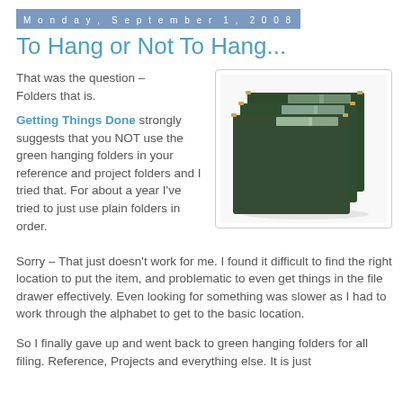Monday, September 1, 2008
To Hang or Not To Hang...
[Figure (photo): Stack of green hanging file folders]
That was the question – Folders that is.

Getting Things Done strongly suggests that you NOT use the green hanging folders in your reference and project folders and I tried that. For about a year I've tried to just use plain folders in order.
Sorry – That just doesn't work for me. I found it difficult to find the right location to put the item, and problematic to even get things in the file drawer effectively. Even looking for something was slower as I had to work through the alphabet to get to the basic location.
So I finally gave up and went back to green hanging folders for all filing. Reference, Projects and everything else. It is just